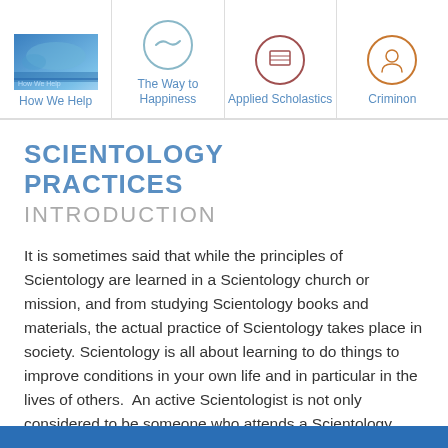How We Help | The Way to Happiness | Applied Scholastics | Criminon
SCIENTOLOGY PRACTICES
INTRODUCTION
It is sometimes said that while the principles of Scientology are learned in a Scientology church or mission, and from studying Scientology books and materials, the actual practice of Scientology takes place in society. Scientology is all about learning to do things to improve conditions in your own life and in particular in the lives of others.  An active Scientologist is not only considered to be someone who attends a Scientology church or studies